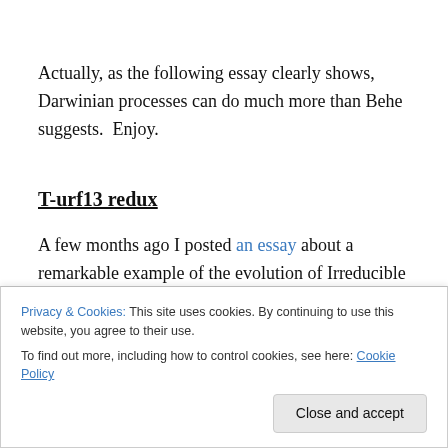Actually, as the following essay clearly shows, Darwinian processes can do much more than Behe suggests.  Enjoy.
T-urf13 redux
A few months ago I posted an essay about a remarkable example of the evolution of Irreducible Complexity from scratch, via natural, unguided mechanisms. While the
idea that a much bigger response, or target, would emerge
Privacy & Cookies: This site uses cookies. By continuing to use this website, you agree to their use.
To find out more, including how to control cookies, see here: Cookie Policy